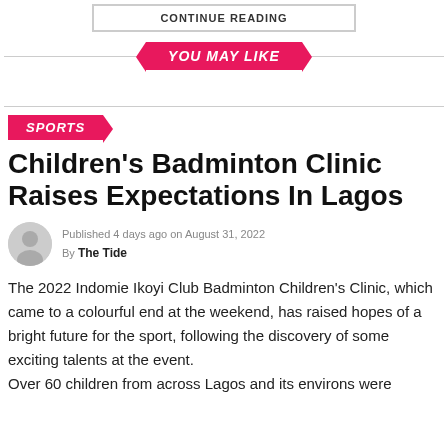CONTINUE READING
YOU MAY LIKE
SPORTS
Children's Badminton Clinic Raises Expectations In Lagos
Published 4 days ago on August 31, 2022
By The Tide
The 2022 Indomie Ikoyi Club Badminton Children's Clinic, which came to a colourful end at the weekend, has raised hopes of a bright future for the sport, following the discovery of some exciting talents at the event.
Over 60 children from across Lagos and its environs were